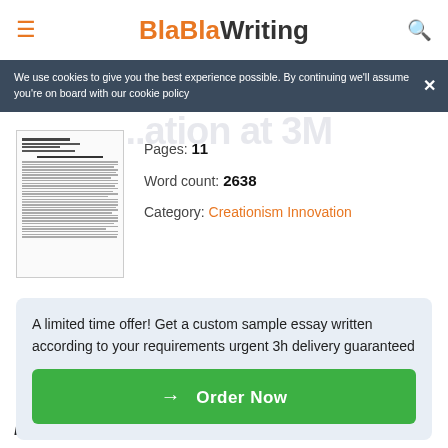BlaBlaWriting
We use cookies to give you the best experience possible. By continuing we'll assume you're on board with our cookie policy
[Figure (illustration): Thumbnail preview of a document/essay page with small lines of text]
Pages: 11
Word count: 2638
Category: Creationism Innovation
A limited time offer! Get a custom sample essay written according to your requirements urgent 3h delivery guaranteed
→ Order Now
Introduction